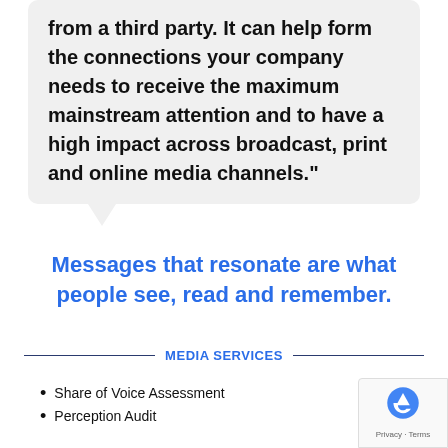from a third party. It can help form the connections your company needs to receive the maximum mainstream attention and to have a high impact across broadcast, print and online media channels."
Messages that resonate are what people see, read and remember.
MEDIA SERVICES
Share of Voice Assessment
Perception Audit